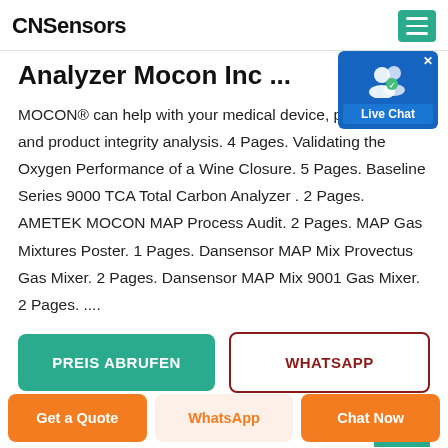CNSensors
Analyzer Mocon Inc ...
MOCON® can help with your medical device, packaging and product integrity analysis. 4 Pages. Validating the Oxygen Performance of a Wine Closure. 5 Pages. Baseline Series 9000 TCA Total Carbon Analyzer . 2 Pages. AMETEK MOCON MAP Process Audit. 2 Pages. MAP Gas Mixtures Poster. 1 Pages. Dansensor MAP Mix Provectus Gas Mixer. 2 Pages. Dansensor MAP Mix 9001 Gas Mixer. 2 Pages. ....
[Figure (other): Live Chat widget with user icon and 'Live Chat' label, blue background]
PREIS ABRUFEN
WHATSAPP
Get a Quote | WhatsApp | Chat Now